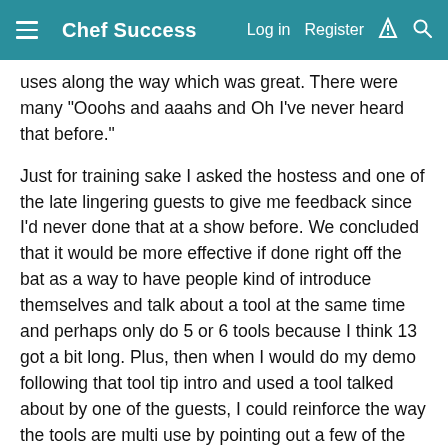Chef Success  Log in  Register
uses along the way which was great. There were many "Ooohs and aaahs and Oh I've never heard that before."
Just for training sake I asked the hostess and one of the late lingering guests to give me feedback since I'd never done that at a show before. We concluded that it would be more effective if done right off the bat as a way to have people kind of introduce themselves and talk about a tool at the same time and perhaps only do 5 or 6 tools because I think 13 got a bit long. Plus, then when I would do my demo following that tool tip intro and used a tool talked about by one of the guests, I could reinforce the way the tools are multi use by pointing out a few of the ideas already mentioned like "And here is the pizza cutter, which as you now know is not just for pizza, but for waffles, french toast...